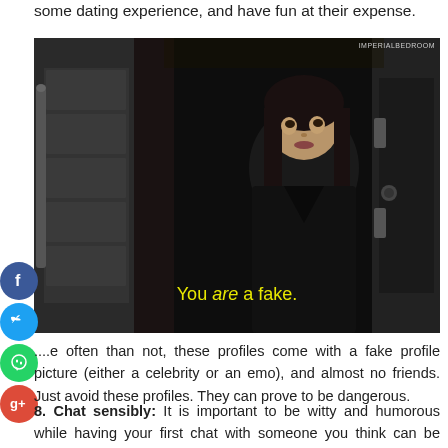some dating experience, and have fun at their expense.
[Figure (screenshot): Movie scene screenshot showing a young girl in dark clothing standing in a doorway with subtitle text 'You are a fake.' in yellow. Watermark reads 'IMPERIALBEDROOM' in top right corner. Social media share buttons (Facebook, Twitter, WhatsApp, Google+) overlay the left side.]
...e often than not, these profiles come with a fake profile picture (either a celebrity or an emo), and almost no friends. Just avoid these profiles. They can prove to be dangerous.
8. Chat sensibly: It is important to be witty and humorous while having your first chat with someone you think can be your partner, but it is advisable to not go over the top while chatting, otherwise